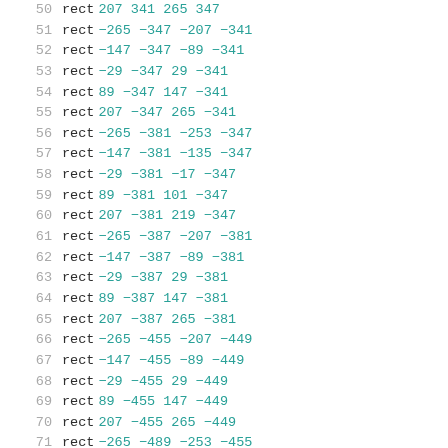50  rect 207 341 265 347
51  rect -265 -347 -207 -341
52  rect -147 -347 -89 -341
53  rect -29 -347 29 -341
54  rect 89 -347 147 -341
55  rect 207 -347 265 -341
56  rect -265 -381 -253 -347
57  rect -147 -381 -135 -347
58  rect -29 -381 -17 -347
59  rect 89 -381 101 -347
60  rect 207 -381 219 -347
61  rect -265 -387 -207 -381
62  rect -147 -387 -89 -381
63  rect -29 -387 29 -381
64  rect 89 -387 147 -381
65  rect 207 -387 265 -381
66  rect -265 -455 -207 -449
67  rect -147 -455 -89 -449
68  rect -29 -455 29 -449
69  rect 89 -455 147 -449
70  rect 207 -455 265 -449
71  rect -265 -489 -253 -455